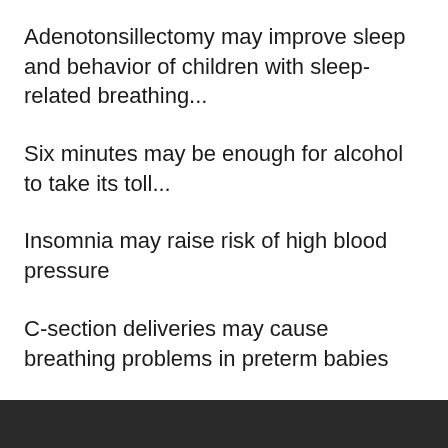Adenotonsillectomy may improve sleep and behavior of children with sleep-related breathing...
Six minutes may be enough for alcohol to take its toll...
Insomnia may raise risk of high blood pressure
C-section deliveries may cause breathing problems in preterm babies